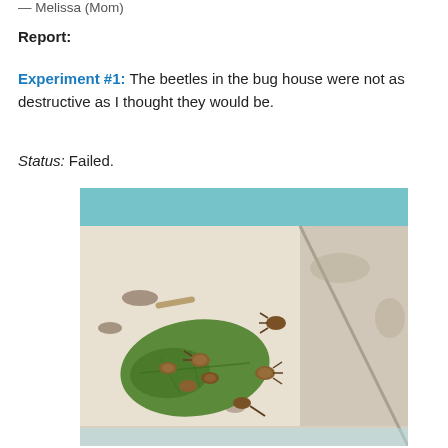— Melissa (Mom)
Report:
Experiment #1: The beetles in the bug house were not as destructive as I thought they would be.
Status: Failed.
[Figure (photo): A plastic container (bug house) with several beetles on a green leaf and on the white floor of the container. The container has a blue tray visible at the top.]